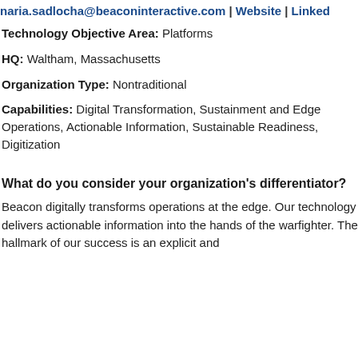naria.sadlocha@beaconinteractive.com | Website | Linked
Technology Objective Area: Platforms
HQ: Waltham, Massachusetts
Organization Type: Nontraditional
Capabilities: Digital Transformation, Sustainment and Edge Operations, Actionable Information, Sustainable Readiness, Digitization
What do you consider your organization's differentiator?
Beacon digitally transforms operations at the edge. Our technology delivers actionable information into the hands of the warfighter. The hallmark of our success is an explicit and